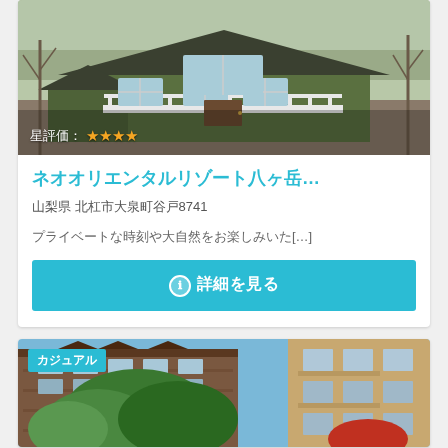[Figure (photo): Green craftsman-style bungalow house with white railings and dark roof, surrounded by bare trees in winter. Stars rating overlay at bottom left.]
星評価：★★★★
ネオオリエンタルリゾート八ヶ岳…
山梨県 北杜市大泉町谷戸8741
プライベートな時刻や大自然をお楽しみいた[…]
ℹ 詳細を見る
[Figure (photo): Multi-story resort hotel building with green trees and vegetation in foreground, blue sky background. Casual badge overlay at top left.]